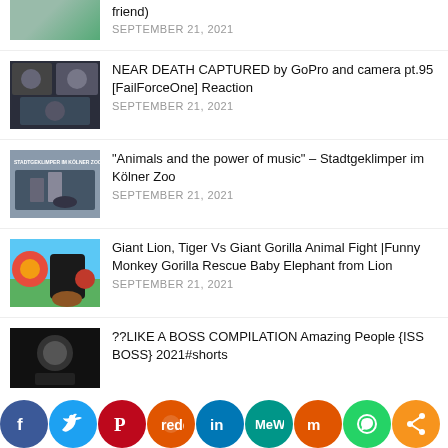friend)
SEPTEMBER 21, 2021
NEAR DEATH CAPTURED by GoPro and camera pt.95 [FailForceOne] Reaction
SEPTEMBER 21, 2021
"Animals and the power of music" – Stadtgeklimper im Kölner Zoo
SEPTEMBER 21, 2021
Giant Lion, Tiger Vs Giant Gorilla Animal Fight |Funny Monkey Gorilla Rescue Baby Elephant from Lion
SEPTEMBER 21, 2021
??LIKE A BOSS COMPILATION Amazing People {ISS BOSS} 2021#shorts
[Figure (screenshot): Social media share buttons bar: Facebook (blue), Twitter (light blue), Pinterest (red), Reddit (orange), LinkedIn (blue), MeWe (teal), Mix (orange), WhatsApp (green), Share (orange)]